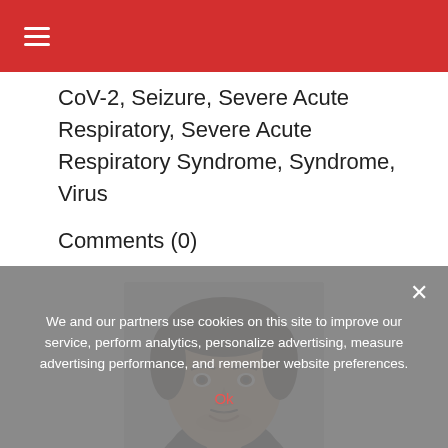☰ (navigation bar)
CoV-2, Seizure, Severe Acute Respiratory, Severe Acute Respiratory Syndrome, Syndrome, Virus
Comments (0)
[Figure (photo): Headshot of a young man wearing a black jacket, photographed outdoors or against a light background]
Written by
Tarun Sai Lomte
We and our partners use cookies on this site to improve our service, perform analytics, personalize advertising, measure advertising performance, and remember website preferences.
Ok